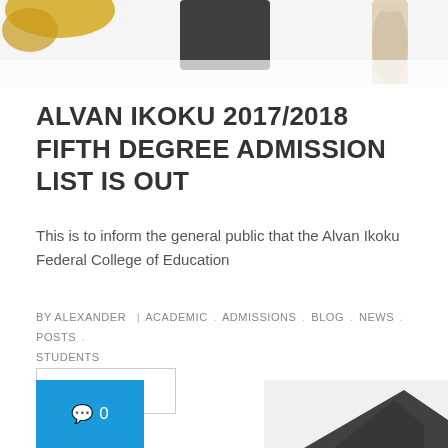[Figure (photo): Top portion of a photo showing academic/graduation items including a tassel/graduation cap elements and cylindrical objects on a white background]
ALVAN IKOKU 2017/2018 FIFTH DEGREE ADMISSION LIST IS OUT
This is to inform the general public that the Alvan Ikoku Federal College of Education
BY ALEXANDER | ACADEMIC . ADMISSIONS . BLOG . NEWS . POSTS . STUDENTS
DETAIL >
[Figure (other): Blue tile with comment bubble icon and 0 count, and partial photo of graduation cap on right side]